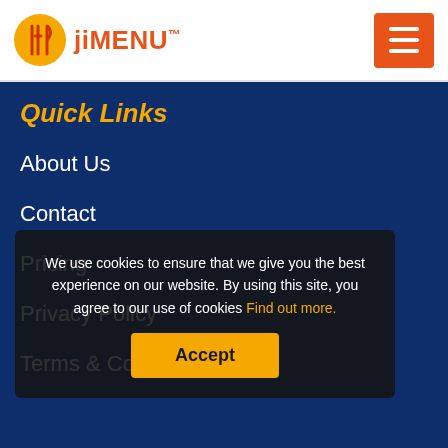jiMENU™
Quick Links
About Us
Contact
Pricing
Privacy Policy
Terms & Conditions
We use cookies to ensure that we give you the best experience on our website. By using this site, you agree to our use of cookies Find out more.